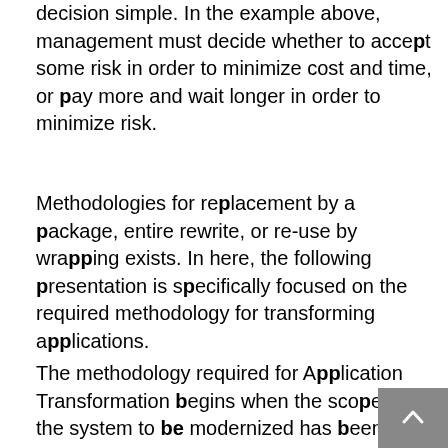decision simple. In the example above, management must decide whether to accept some risk in order to minimize cost and time, or pay more and wait longer in order to minimize risk.
Methodologies for replacement by a package, entire rewrite, or re-use by wrapping exists. In here, the following presentation is specifically focused on the required methodology for transforming applications.
The methodology required for Application Transformation begins when the scope of the system to be modernized has been defined together with the target platform and architecture. Detailed planning of a legacy